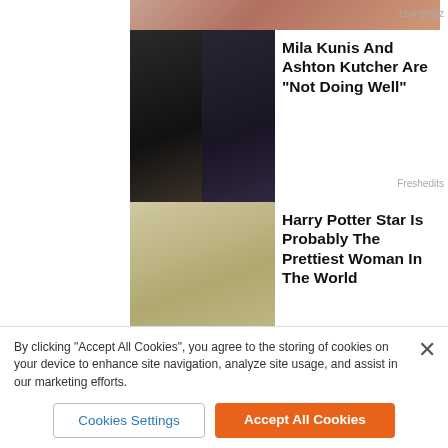[Figure (photo): Top strip photo of a woman in colorful outfit]
Livingmgz
[Figure (photo): Two women side by side - Mila Kunis and Bethenny Frankel]
Mila Kunis And Ashton Kutcher Are "Not Doing Well"
Freshedits
[Figure (photo): Blonde woman - Harry Potter star]
Harry Potter Star Is Probably The Prettiest Woman In The World
Bridesblush
It was no accident. Since taking the job as the country’s top diplomat, Pompeo placed an enormous emphasis on security and was well aware of the ongoing hostilities in the region from Iran-backed militia.
The 2012 attacks at the consulate in Benghazi left an enormous
By clicking “Accept All Cookies”, you agree to the storing of cookies on your device to enhance site navigation, analyze site usage, and assist in our marketing efforts.
Cookies Settings
Accept All Cookies